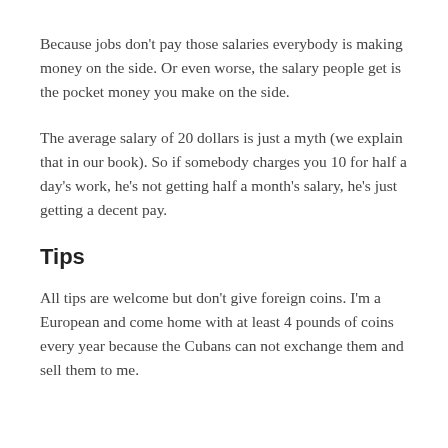Because jobs don't pay those salaries everybody is making money on the side. Or even worse, the salary people get is the pocket money you make on the side.
The average salary of 20 dollars is just a myth (we explain that in our book). So if somebody charges you 10 for half a day's work, he's not getting half a month's salary, he's just getting a decent pay.
Tips
All tips are welcome but don't give foreign coins. I'm a European and come home with at least 4 pounds of coins every year because the Cubans can not exchange them and sell them to me.